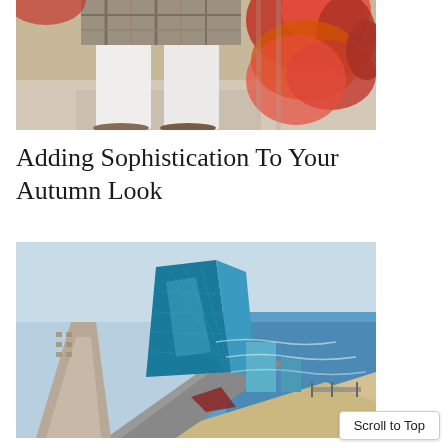[Figure (photo): Close-up photo of a person's legs wearing white pants and plaid skirt, standing near red autumn leaves on a wall]
Adding Sophistication To Your Autumn Look
[Figure (photo): Aerial view of Atlantic City boardwalk and coastline with a large blue glass building (casino), beach, ocean, and surrounding city buildings]
Scroll to Top